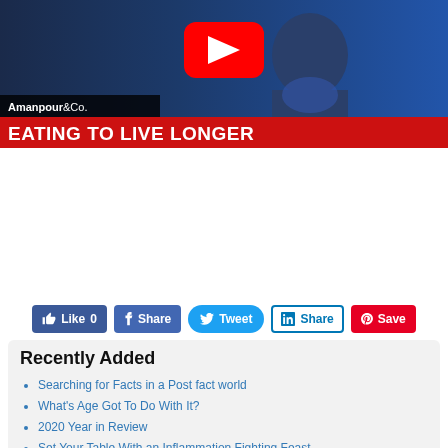[Figure (screenshot): YouTube video thumbnail for 'Eating to Live Longer' from Amanpour & Co. showing a person in a blue setting with YouTube play button overlay and red title bar]
[Figure (infographic): Social media sharing buttons: Like 0 (Facebook), Share (Facebook), Tweet (Twitter), Share (LinkedIn), Save (Pinterest)]
Recently Added
Searching for Facts in a Post fact world
What's Age Got To Do With It?
2020 Year in Review
Set Your Table With an Inflammation Fighting Feast
Chronic Loneliness Can Invite Chronic Disease